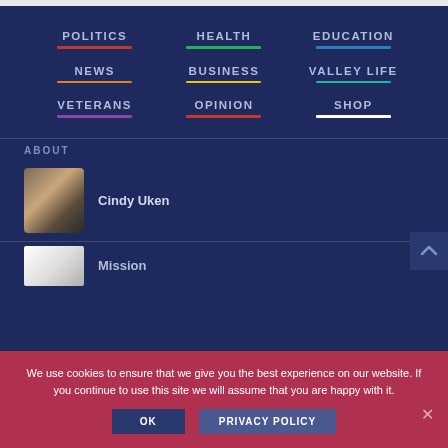POLITICS
HEALTH
EDUCATION
NEWS
BUSINESS
VALLEY LIFE
VETERANS
OPINION
SHOP
ABOUT
Cindy Uken
[Figure (photo): Portrait photo of Cindy Uken]
Mission
[Figure (photo): Small thumbnail image next to Mission text]
We use cookies to ensure that we give you the best experience on our website. If you continue to use this site we will assume that you are happy with it.
OK
PRIVACY POLICY